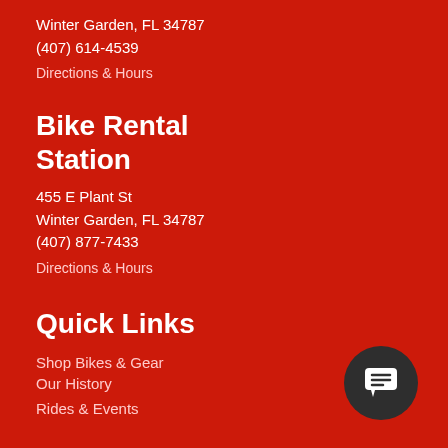Winter Garden, FL 34787
(407) 614-4539
Directions & Hours
Bike Rental Station
455 E Plant St
Winter Garden, FL 34787
(407) 877-7433
Directions & Hours
Quick Links
Shop Bikes & Gear
Our History
Rides & Events
[Figure (illustration): Dark circular chat/message button icon in bottom right corner]